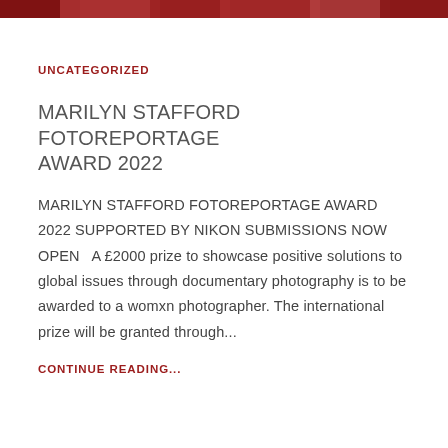[Figure (photo): Colorful photo strip at top of page]
UNCATEGORIZED
MARILYN STAFFORD FOTOREPORTAGE AWARD 2022
MARILYN STAFFORD FOTOREPORTAGE AWARD 2022 SUPPORTED BY NIKON SUBMISSIONS NOW OPEN   A £2000 prize to showcase positive solutions to global issues through documentary photography is to be awarded to a womxn photographer. The international prize will be granted through...
CONTINUE READING...